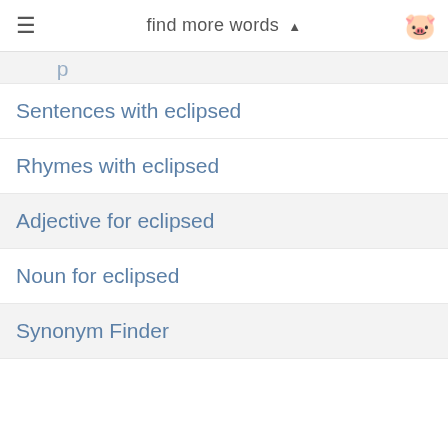find more words ▲
Sentences with eclipsed
Rhymes with eclipsed
Adjective for eclipsed
Noun for eclipsed
Synonym Finder